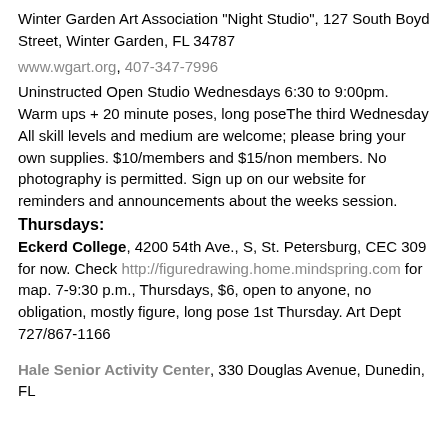Winter Garden Art Association "Night Studio", 127 South Boyd Street, Winter Garden, FL 34787
www.wgart.org, 407-347-7996
Uninstructed Open Studio Wednesdays 6:30 to 9:00pm. Warm ups + 20 minute poses, long poseThe third Wednesday All skill levels and medium are welcome; please bring your own supplies. $10/members and $15/non members. No photography is permitted. Sign up on our website for reminders and announcements about the weeks session.
Thursdays:
Eckerd College, 4200 54th Ave., S, St. Petersburg, CEC 309 for now. Check http://figuredrawing.home.mindspring.com for map. 7-9:30 p.m., Thursdays, $6, open to anyone, no obligation, mostly figure, long pose 1st Thursday. Art Dept 727/867-1166
Hale Senior Activity Center, 330 Douglas Avenue, Dunedin, FL